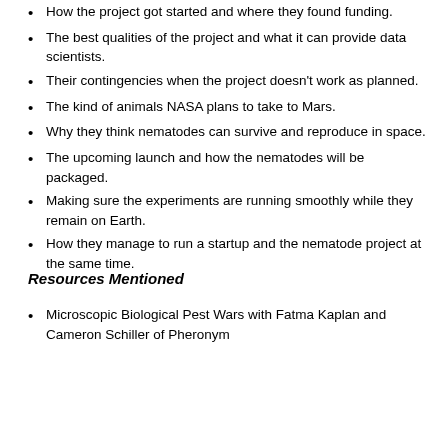How the project got started and where they found funding.
The best qualities of the project and what it can provide data scientists.
Their contingencies when the project doesn't work as planned.
The kind of animals NASA plans to take to Mars.
Why they think nematodes can survive and reproduce in space.
The upcoming launch and how the nematodes will be packaged.
Making sure the experiments are running smoothly while they remain on Earth.
How they manage to run a startup and the nematode project at the same time.
Resources Mentioned
Microscopic Biological Pest Wars with Fatma Kaplan and Cameron Schiller of Pheronym